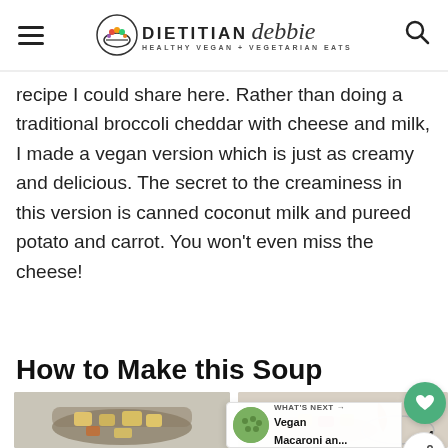Dietitian Debbie — Healthy Vegan + Vegetarian Eats
recipe I could share here. Rather than doing a traditional broccoli cheddar with cheese and milk, I made a vegan version which is just as creamy and delicious. The secret to the creaminess in this version is canned coconut milk and pureed potato and carrot. You won't even miss the cheese!
How to Make this Soup
[Figure (photo): Photo of a dark bowl with chopped potatoes and vegetables (broccoli cheddar soup ingredients)]
[Figure (photo): Photo of a bowl with chopped vegetables being prepared for soup, partial view]